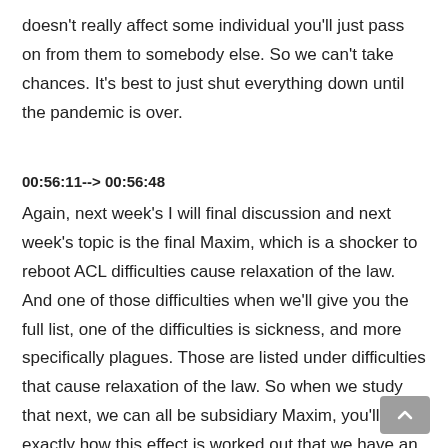doesn't really affect some individual you'll just pass on from them to somebody else. So we can't take chances. It's best to just shut everything down until the pandemic is over.
00:56:11--> 00:56:48
Again, next week's I will final discussion and next week's topic is the final Maxim, which is a shocker to reboot ACL difficulties cause relaxation of the law. And one of those difficulties when we'll give you the full list, one of the difficulties is sickness, and more specifically plagues. Those are listed under difficulties that cause relaxation of the law. So when we study that next, we can all be subsidiary Maxim, you'll see exactly how this effect is worked out that we have an entire fleet to prevent these things from happening. The prophets law exam stated in an ad is that when a plague enters the area, if you're living in